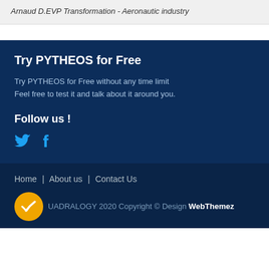Arnaud D.EVP Transformation - Aeronautic industry
Try PYTHEOS for Free
Try PYTHEOS for Free without any time limit
Feel free to test it and talk about it around you.
Follow us !
[Figure (illustration): Twitter and Facebook social media icons in blue]
Home | About us | Contact Us
QUADRALOGY 2020 Copyright © Design WebThemez